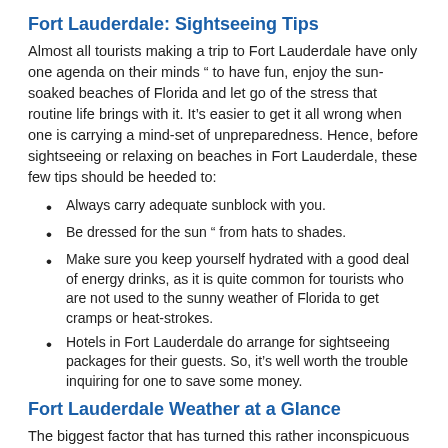Fort Lauderdale: Sightseeing Tips
Almost all tourists making a trip to Fort Lauderdale have only one agenda on their minds “ to have fun, enjoy the sun-soaked beaches of Florida and let go of the stress that routine life brings with it. It’s easier to get it all wrong when one is carrying a mind-set of unpreparedness. Hence, before sightseeing or relaxing on beaches in Fort Lauderdale, these few tips should be heeded to:
Always carry adequate sunblock with you.
Be dressed for the sun “ from hats to shades.
Make sure you keep yourself hydrated with a good deal of energy drinks, as it is quite common for tourists who are not used to the sunny weather of Florida to get cramps or heat-strokes.
Hotels in Fort Lauderdale do arrange for sightseeing packages for their guests. So, it’s well worth the trouble inquiring for one to save some money.
Fort Lauderdale Weather at a Glance
The biggest factor that has turned this rather inconspicuous city on the Atlantic coast into a major